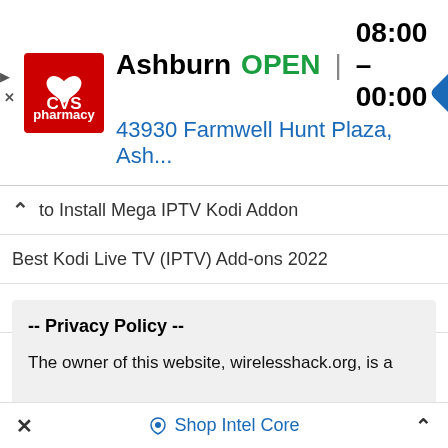[Figure (screenshot): CVS Pharmacy advertisement banner showing Ashburn store, OPEN 08:00-00:00, address 43930 Farmwell Hunt Plaza, Ash..., with navigation diamond icon]
to Install Mega IPTV Kodi Addon
Best Kodi Live TV (IPTV) Add-ons 2022
How To Install MLB.TV.2 Kodi Addon
-- Privacy Policy --
The owner of this website, wirelesshack.org, is a participant in the Amazon Services LLC Associates Program, an affiliate advertising program designed to provide a means for sites to earn advertising fees by advertising and linking www.wirelesshack.org to Amazon
Shop Intel Core